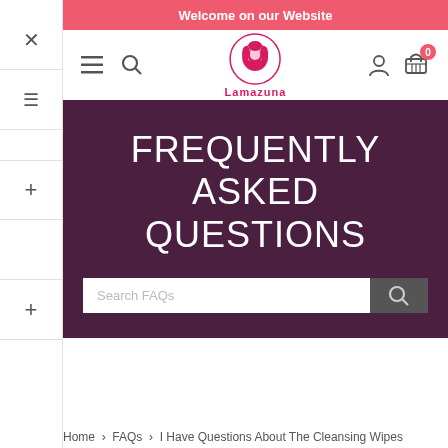Welcome on our Website
[Figure (logo): Lamazuna brand logo - a circular emblem with a lion/woman figure in pink/magenta, with the text 'Lamazuna' below]
FREQUENTLY ASKED QUESTIONS
Search FAQs
Home > FAQs > I Have Questions About The Cleansing Wipes